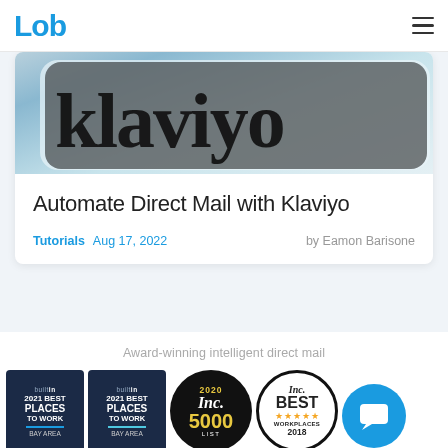Lob
[Figure (photo): Close-up photo of a phone screen showing the Klaviyo logo/wordmark in dark serif font on a light teal/mint background]
Automate Direct Mail with Klaviyo
Tutorials  Aug 17, 2022   by Eamon Barisone
Award-winning intelligent direct mail
[Figure (logo): Built In 2021 Best Places to Work Bay Area badge (dark background)]
[Figure (logo): Built In 2021 Best Places to Work Bay Area badge (dark background with teal accent bar)]
[Figure (logo): Inc 5000 2020 list circular badge]
[Figure (logo): Inc Best Workplaces 2018 circular badge with star rating]
[Figure (logo): Chat/support bubble icon in blue circle]